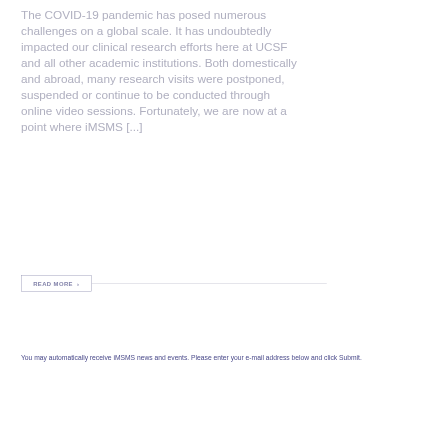The COVID-19 pandemic has posed numerous challenges on a global scale. It has undoubtedly impacted our clinical research efforts here at UCSF and all other academic institutions. Both domestically and abroad, many research visits were postponed, suspended or continue to be conducted through online video sessions. Fortunately, we are now at a point where iMSMS [...]
E-mail Alerts
READ MORE ›
You may automatically receive iMSMS news and events. Please enter your e-mail address below and click Submit.